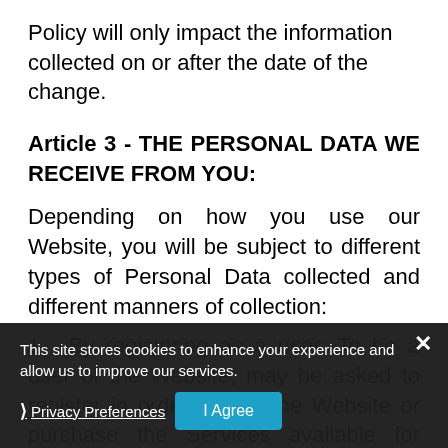Policy will only impact the information collected on or after the date of the change.
Article 3 - THE PERSONAL DATA WE RECEIVE FROM YOU:
Depending on how you use our Website, you will be subject to different types of Personal Data collected and different manners of collection:
1. By registering as a user: To be a user of the Website, may be asked to register in order to use the Website or purchase the Services available for sale.
During the process of your registration, we will
This site stores cookies to enhance your experience and allow us to improve our services. Privacy Preferences  I Agree